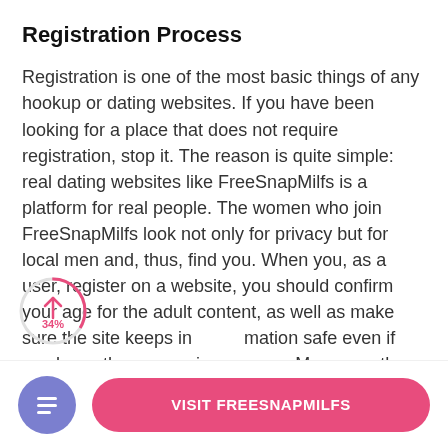Registration Process
Registration is one of the most basic things of any hookup or dating websites. If you have been looking for a place that does not require registration, stop it. The reason is quite simple: real dating websites like FreeSnapMilfs is a platform for real people. The women who join FreeSnapMilfs look not only for privacy but for local men and, thus, find you. When you, as a user, register on a website, you should confirm your age for the adult content, as well as make sure the site keeps information safe even if you know the woman in person. Moreover, the registration process helps you build your profile — a necessity to attract the hottest ladies in your locality — and filter your searches based
[Figure (other): Scroll progress indicator showing 34% with upward arrow, circular UI element]
[Figure (other): Icon button with document/list icon in purple circle]
VISIT FREESNAPMILFS